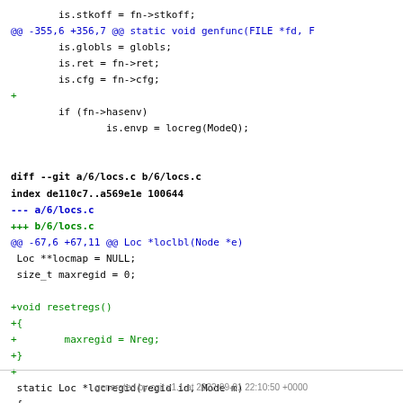Code diff showing changes to 6/locs.c including addition of resetregs() function
generated by cgit v1.1 at 2022-09-01 22:10:50 +0000